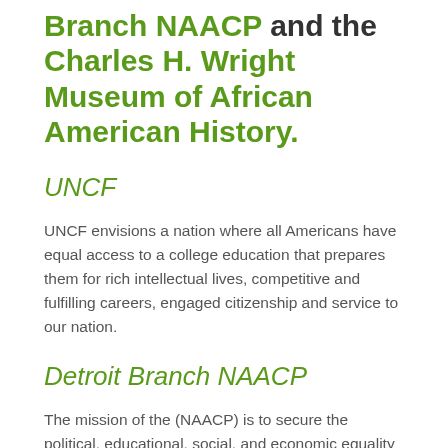Branch NAACP and the Charles H. Wright Museum of African American History.
UNCF
UNCF envisions a nation where all Americans have equal access to a college education that prepares them for rich intellectual lives, competitive and fulfilling careers, engaged citizenship and service to our nation.
Detroit Branch NAACP
The mission of the (NAACP) is to secure the political, educational, social, and economic equality of rights in order to eliminate race-based discrimination and ensure the health and well-being of all persons.